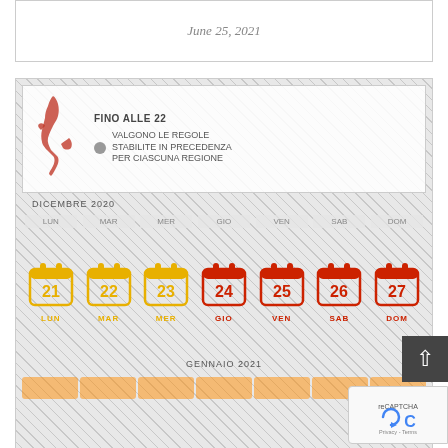June 25, 2021
[Figure (infographic): Italian COVID-19 Christmas holiday calendar infographic showing December 2020 and January 2021 dates with yellow (restricted) and red (lockdown) calendar icons for days 21-27 December, along with a map of Italy and rules text in Italian: FINO ALLE 22, VALGONO LE REGOLE STABILITE IN PRECEDENZA PER CIASCUNA REGIONE, DICEMBRE 2020, GENNAIO 2021]
COVID IN ITALY DURING THE CHRISTMAS HOLIDAY
December 21, 2020
[Figure (photo): Close-up photo of a cappuccino or latte with latte art showing a heart or floral design in cocoa powder on white foam]